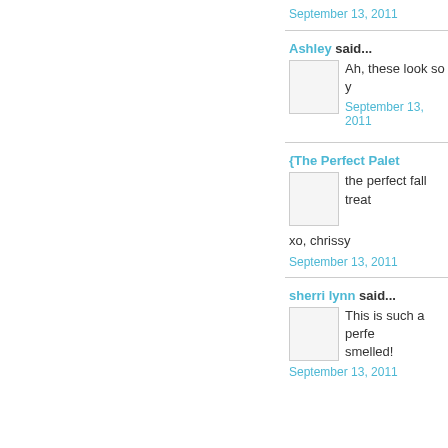September 13, 2011
Ashley said...
Ah, these look so y
September 13, 2011
{The Perfect Palet
the perfect fall treat
xo, chrissy
September 13, 2011
sherri lynn said...
This is such a perfe smelled!
September 13, 2011